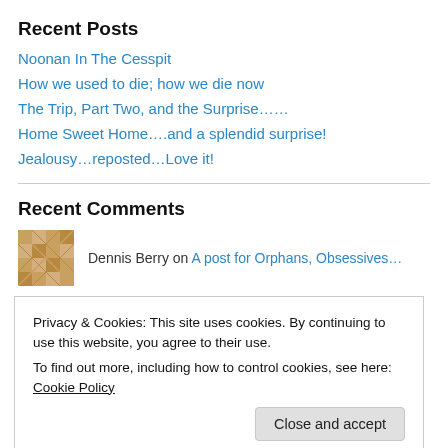Recent Posts
Noonan In The Cesspit
How we used to die; how we die now
The Trip, Part Two, and the Surprise……
Home Sweet Home….and a splendid surprise!
Jealousy…reposted…Love it!
Recent Comments
Dennis Berry on A post for Orphans, Obsessives…
Privacy & Cookies: This site uses cookies. By continuing to use this website, you agree to their use.
To find out more, including how to control cookies, see here: Cookie Policy
Close and accept